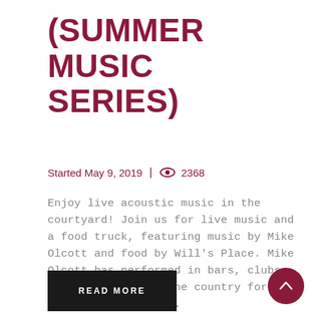(SUMMER MUSIC SERIES)
Started May 9, 2019  |  👁 2368
Enjoy live acoustic music in the courtyard! Join us for live music and a food truck, featuring music by Mike Olcott and food by Will's Place. Mike Olcott has performed in bars, clubs and stages across the country for the last 20 years and...
READ MORE